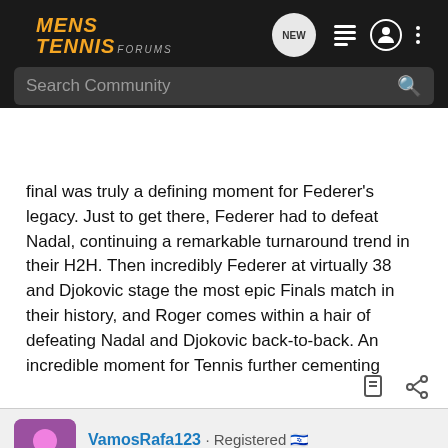MENS TENNIS FORUMS — navigation header with search bar
final was truly a defining moment for Federer's legacy. Just to get there, Federer had to defeat Nadal, continuing a remarkable turnaround trend in their H2H. Then incredibly Federer at virtually 38 and Djokovic stage the most epic Finals match in their history, and Roger comes within a hair of defeating Nadal and Djokovic back-to-back. An incredible moment for Tennis further cementing Roger's greatness.
VamosRafa123 · Registered · Joined Mar 16, 2017 · 2,678 Posts
#16 · Dec 17, 2019